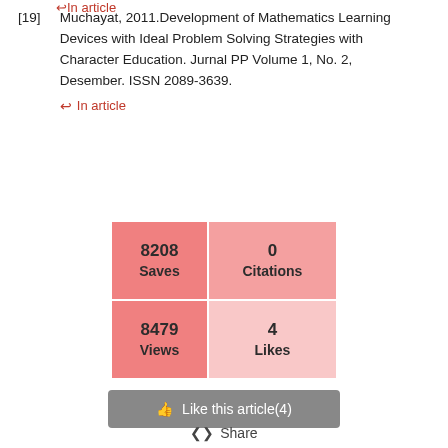↩ In article
[19] Muchayat, 2011.Development of Mathematics Learning Devices with Ideal Problem Solving Strategies with Character Education. Jurnal PP Volume 1, No. 2, Desember. ISSN 2089-3639.
↩ In article
[Figure (infographic): 2x2 stats grid showing: 8208 Saves (top-left, salmon), 0 Citations (top-right, light pink), 8479 Views (bottom-left, salmon), 4 Likes (bottom-right, very light pink)]
👍 Like this article(4)
Share